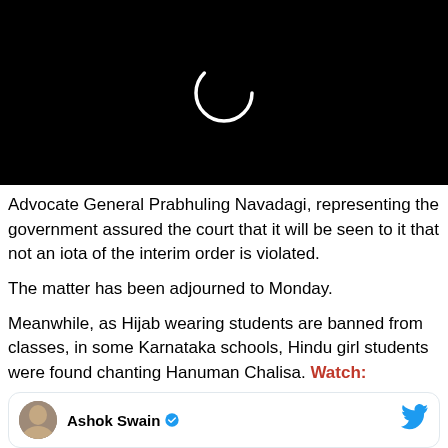[Figure (screenshot): Black video loading screen with a circular loading spinner ring in the center]
Advocate General Prabhuling Navadagi, representing the government assured the court that it will be seen to it that not an iota of the interim order is violated.
The matter has been adjourned to Monday.
Meanwhile, as Hijab wearing students are banned from classes, in some Karnataka schools, Hindu girl students were found chanting Hanuman Chalisa. Watch:
[Figure (screenshot): Twitter/X card showing Ashok Swain profile with verified badge and Twitter bird logo]